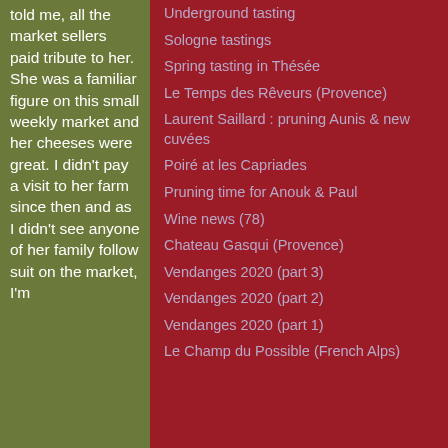told me, all the market sellers paid tribute to her. She was a familiar figure on this small weekly market and her cheeses were great. I didn't pay a visit to her farm since then and as I didn't see anyone of her family follow suit on the market, I'm
Underground tasting
Sologne tastings
Spring tasting in Thésée
Le Temps des Rêveurs (Provence)
Laurent Saillard : pruning Aunis & new cuvées
Poiré at les Capriades
Pruning time for Anouk & Paul
Wine news (78)
Chateau Gasqui (Provence)
Vendanges 2020 (part 3)
Vendanges 2020 (part 2)
Vendanges 2020 (part 1)
Le Champ du Possible (French Alps)